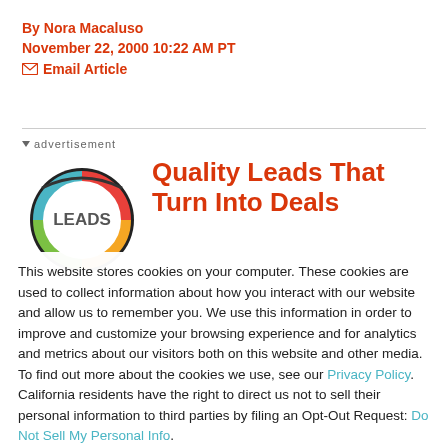By Nora Macaluso
November 22, 2000 10:22 AM PT
✉ Email Article
[Figure (advertisement): Advertisement section with a circular tire/leads logo image and red bold text reading 'Quality Leads That Turn Into Deals']
This website stores cookies on your computer. These cookies are used to collect information about how you interact with our website and allow us to remember you. We use this information in order to improve and customize your browsing experience and for analytics and metrics about our visitors both on this website and other media. To find out more about the cookies we use, see our Privacy Policy. California residents have the right to direct us not to sell their personal information to third parties by filing an Opt-Out Request: Do Not Sell My Personal Info.
Accept